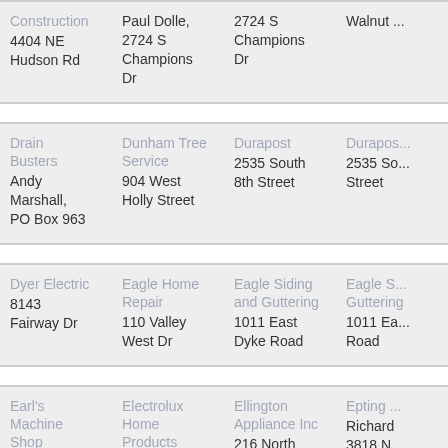| Name/Address Col1 | Name/Address Col2 | Name/Address Col3 | Name/Address Col4 |
| --- | --- | --- | --- |
| Construction
4404 NE Hudson Rd | Paul Dolle,
2724 S Champions Dr | 2724 S Champions Dr | Walnut... |
| Drain Busters
Andy Marshall,
PO Box 963 | Dunham Tree Service
904 West Holly Street | Durapost
2535 South 8th Street | Durapos...
2535 So... Street |
| Dyer Electric
8143 Fairway Dr | Eagle Home Repair
110 Valley West Dr | Eagle Siding and Guttering
1011 East Dyke Road | Eagle S... Guttering
1011 Ea... Road |
| Earl's Machine Shop | Electrolux Home Products | Ellington Appliance Inc
216 North | Epting ...
Richard
3818 N... |